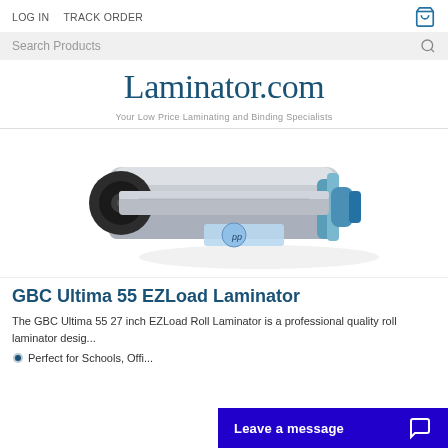LOG IN   TRACK ORDER
Search Products
[Figure (logo): Laminator.com logo with tagline: Your Low Price Laminating and Binding Specialists]
[Figure (photo): GBC Ultima 55 EZLoad Roll Laminator product photo, close-up of the laminator machine with roll film]
GBC Ultima 55 EZLoad Laminator
The GBC Ultima 55 27 inch EZLoad Roll Laminator is a professional quality roll laminator desig...
Perfect for Schools, Offi...
Leave a message